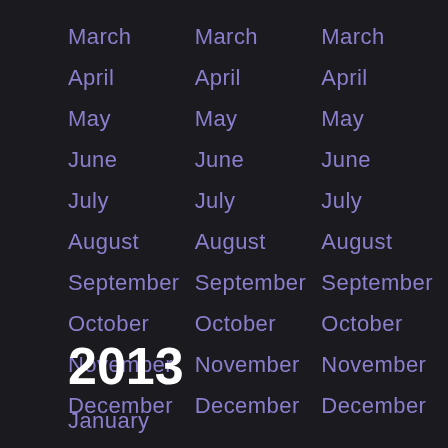March
April
May
June
July
August
September
October
November
December
March
April
May
June
July
August
September
October
November
December
March
April
May
June
July
August
September
October
November
December
2013
January
February
March